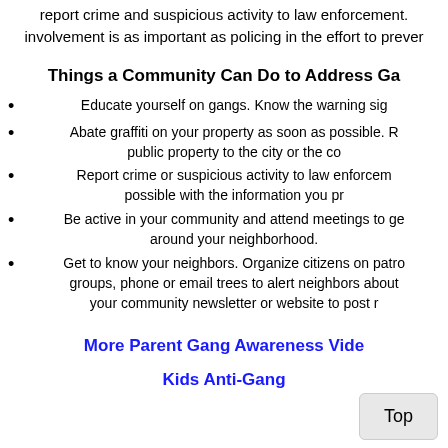report crime and suspicious activity to law enforcement. involvement is as important as policing in the effort to prevent
Things a Community Can Do to Address Ga
Educate yourself on gangs. Know the warning sig
Abate graffiti on your property as soon as possible. R public property to the city or the co
Report crime or suspicious activity to law enforcem possible with the information you pr
Be active in your community and attend meetings to ge around your neighborhood.
Get to know your neighbors. Organize citizens on patro groups, phone or email trees to alert neighbors about your community newsletter or website to post r
More Parent Gang Awareness Vide
Kids Anti-Gang